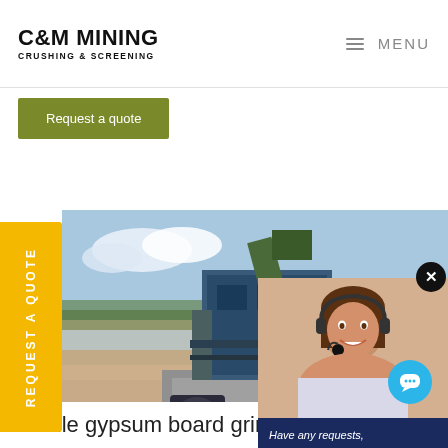C&M MINING CRUSHING & SCREENING | MENU
Request a quote
[Figure (illustration): Vertical yellow side tab with rotated text 'REQUEST A QUOTE']
[Figure (photo): Mining crushing and screening equipment at a quarry site, showing large industrial machinery on a concrete platform with blue machinery and dust in background]
[Figure (screenshot): Chat popup overlay showing a female customer service representative wearing a headset, with text 'Have any requests, click here.' and a Quotation button]
mobile gypsum board grindin